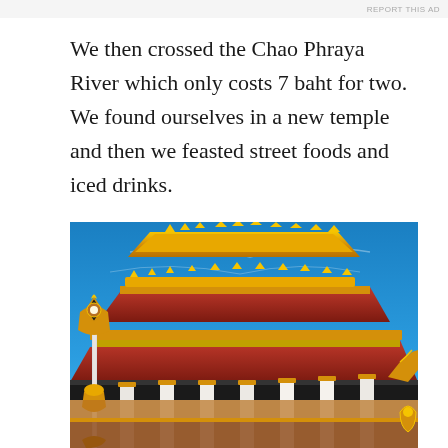REPORT THIS AD
We then crossed the Chao Phraya River which only costs 7 baht for two. We found ourselves in a new temple and then we feasted street foods and iced drinks.
[Figure (photo): Low-angle photograph of an ornate Thai Buddhist temple with elaborate gold and red tiered rooftop decorations against a bright blue sky. A decorative lamp post with gold filigree is visible on the left side. White columns support the temple structure with intricate golden carvings throughout.]